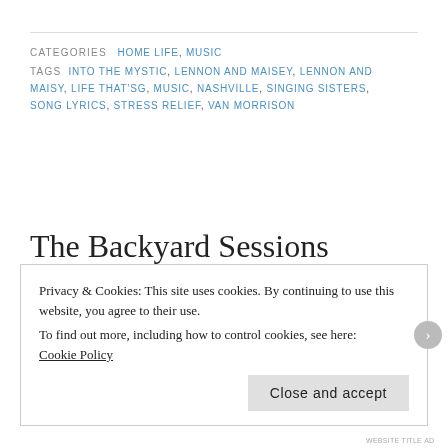CATEGORIES  HOME LIFE,  MUSIC
TAGS  INTO THE MYSTIC,  LENNON AND MAISEY,  LENNON AND MAISY,  LIFE THAT'SG,  MUSIC,  NASHVILLE,  SINGING SISTERS,  SONG LYRICS,  STRESS RELIEF,  VAN MORRISON
The Backyard Sessions
PUBLISHED ON February 18, 2014
Leave a comment
Privacy & Cookies: This site uses cookies. By continuing to use this website, you agree to their use.
To find out more, including how to control cookies, see here:
Cookie Policy
Close and accept